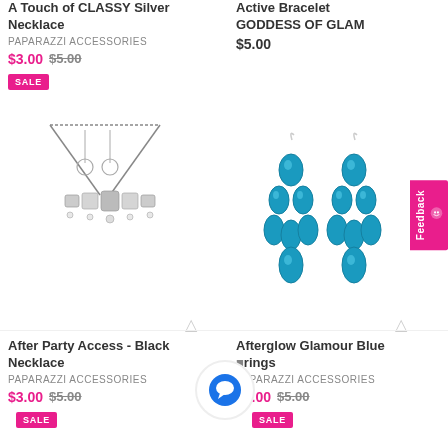A Touch of CLASSY Silver Necklace
PAPARAZZI ACCESSORIES
$3.00  $5.00
SALE
[Figure (photo): Silver necklace with crystal/rhinestone pendants and matching drop earrings on white background]
Active Bracelet GODDESS OF GLAM
$5.00
[Figure (photo): Teal/blue teardrop-shaped chandelier earrings with multiple gemstone clusters on white background]
After Party Access - Black Necklace
PAPARAZZI ACCESSORIES
$3.00  $5.00
Afterglow Glamour Blue Earrings
PAPARAZZI ACCESSORIES
$3.00  $5.00